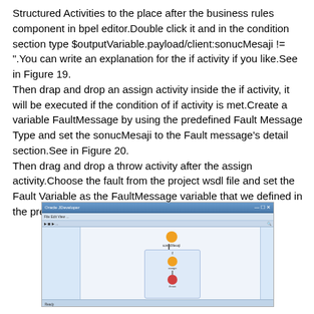Structured Activities to the place after the business rules component in bpel editor.Double click it and in the condition section type $outputVariable.payload/client:sonucMesaji != ".You can write an explanation for the if activity if you like.See in Figure 19.
Then drap and drop an assign activity inside the if activity, it will be executed if the condition of if activity is met.Create a variable FaultMessage by using the predefined Fault Message Type and set the sonucMesaji to the Fault message's detail section.See in Figure 20.
Then drag and drop a throw activity after the assign activity.Choose the fault from the project wsdl file and set the Fault Variable as the FaultMessage variable that we defined in the previous step.See in Figure 21.
[Figure (screenshot): Screenshot of a BPEL editor IDE showing a workflow diagram with an if activity containing an assign and throw activity connected by flow lines.]